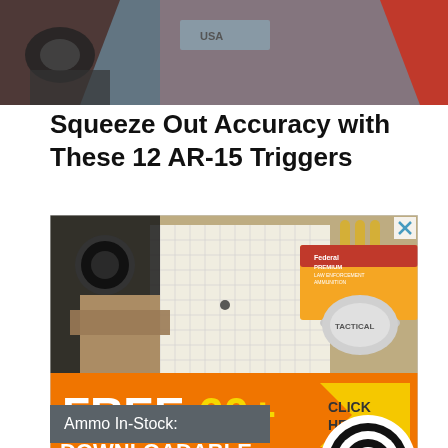[Figure (photo): Close-up photo of a gun trigger mechanism with metal parts, red background visible, USA marking on metal component]
Squeeze Out Accuracy with These 12 AR-15 Triggers
[Figure (infographic): Advertisement banner: photo of firearms, ammunition, and shooting targets at top; orange lower half reads FREE 60+ DOWNLOADABLE TARGETS FROM STORM TACTICAL AND GUN DIGEST with CLICK HERE arrow button. Federal Premium Tactical ammunition box visible. Small X close button in top right corner.]
Ammo In-Stock: